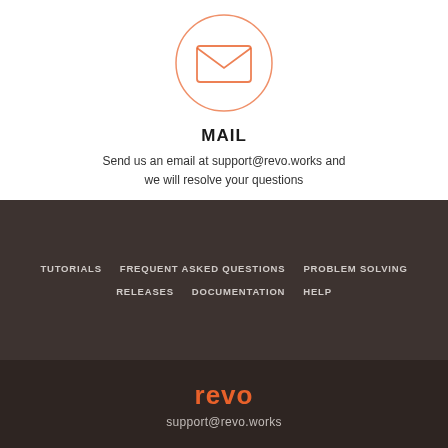[Figure (illustration): Circle with envelope/mail icon outline in salmon/orange-red color]
MAIL
Send us an email at support@revo.works and we will resolve your questions
TUTORIALS
FREQUENT ASKED QUESTIONS
PROBLEM SOLVING
RELEASES
DOCUMENTATION
HELP
[Figure (logo): revo logo in orange]
support@revo.works